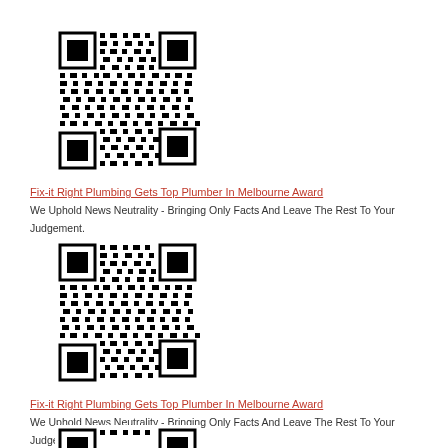[Figure (other): QR code image 1]
Fix-it Right Plumbing Gets Top Plumber In Melbourne Award
We Uphold News Neutrality - Bringing Only Facts And Leave The Rest To Your Judgement.
[Figure (other): QR code image 2]
Fix-it Right Plumbing Gets Top Plumber In Melbourne Award
We Uphold News Neutrality - Bringing Only Facts And Leave The Rest To Your Judgement.
[Figure (other): QR code image 3 (partially visible)]